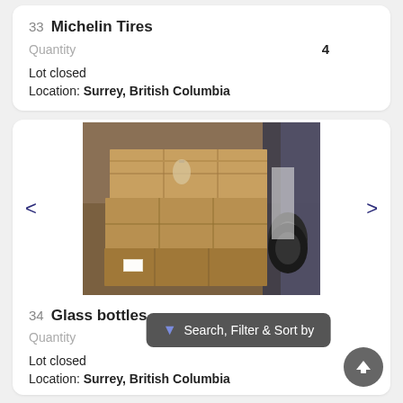33 Michelin Tires
Quantity 4
Lot closed
Location: Surrey, British Columbia
[Figure (photo): Stack of cardboard boxes on a pallet in a warehouse]
34 Glass bottles
Quantity
Lot closed
Location: Surrey, British Columbia
Search, Filter & Sort by